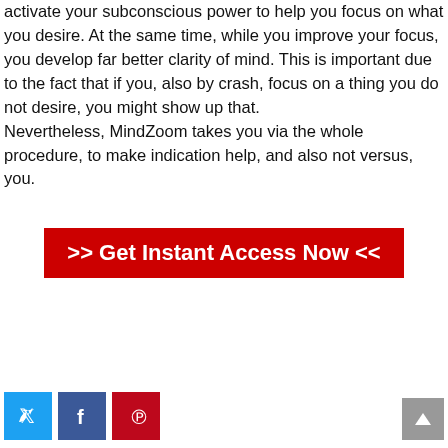activate your subconscious power to help you focus on what you desire. At the same time, while you improve your focus, you develop far better clarity of mind. This is important due to the fact that if you, also by crash, focus on a thing you do not desire, you might show up that.
Nevertheless, MindZoom takes you via the whole procedure, to make indication help, and also not versus, you.
[Figure (infographic): Red button with white bold text: >> Get Instant Access Now <<]
[Figure (infographic): Social share icons: Twitter (blue), Facebook (dark blue), Pinterest (red), and a grey scroll-to-top button on the right]